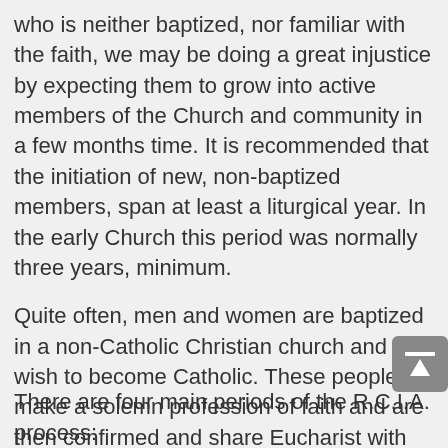who is neither baptized, nor familiar with the faith, we may be doing a great injustice by expecting them to grow into active members of the Church and community in a few months time. It is recommended that the initiation of new, non-baptized members, span at least a liturgical year. In the early Church this period was normally three years, minimum.
Quite often, men and women are baptized in a non-Catholic Christian church and now wish to become Catholic. These people make a solemn profession of faith and are then confirmed and share Eucharist with the community for the first time.  A person who was baptized Catholic, but not catechized or raised in the faith, also comes into full communion through the process.
There are four main periods of the R.C.I.A. process: